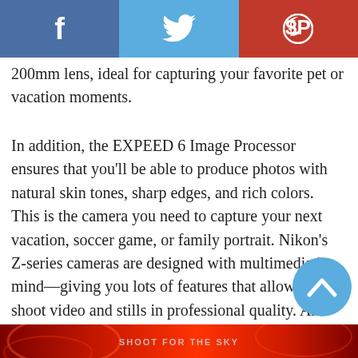[Figure (other): Social sharing bar with Facebook (blue), Twitter (light blue), and Pinterest (red) buttons with icons]
200mm lens, ideal for capturing your favorite pet or vacation moments.
In addition, the EXPEED 6 Image Processor ensures that you'll be able to produce photos with natural skin tones, sharp edges, and rich colors. This is the camera you need to capture your next vacation, soccer game, or family portrait. Nikon's Z-series cameras are designed with multimedia in mind—giving you lots of features that allow you to shoot video and stills in professional quality. And with its interchangeable lenses, the Z 5 gives you greater creative freedom than ever before.
[Figure (other): Scroll-to-top circular button in light blue with upward chevron arrow]
[Figure (photo): Bottom image strip with red/dark swirling design and text reading 'SHOOT FOR THE SKY']